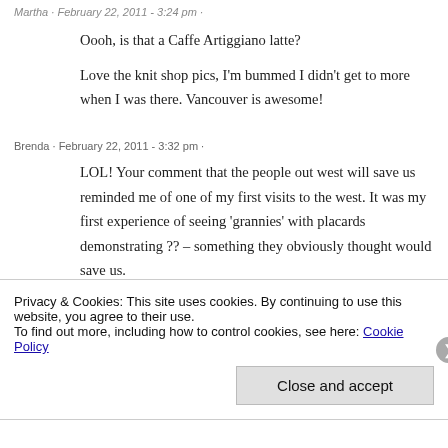Martha · February 22, 2011 - 3:24 pm ·
Oooh, is that a Caffe Artiggiano latte?
Love the knit shop pics, I'm bummed I didn't get to more when I was there. Vancouver is awesome!
Brenda · February 22, 2011 - 3:32 pm ·
LOL! Your comment that the people out west will save us reminded me of one of my first visits to the west. It was my first experience of seeing 'grannies' with placards demonstrating ?? – something they obviously thought would save us.
Privacy & Cookies: This site uses cookies. By continuing to use this website, you agree to their use. To find out more, including how to control cookies, see here: Cookie Policy
Close and accept